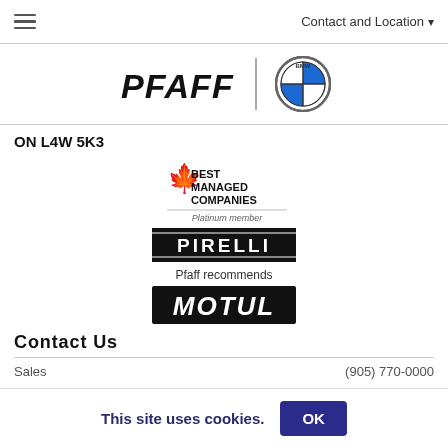Contact and Location
[Figure (logo): Pfaff and BMW logos side by side]
ON L4W 5K3
[Figure (logo): Canada's Best Managed Companies - Platinum member badge]
[Figure (logo): Pirelli logo]
Pfaff recommends
[Figure (logo): Motul logo]
Contact Us
(905) 770-0000
This site uses cookies.